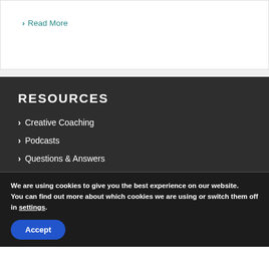> Read More
RESOURCES
> Creative Coaching
> Podcasts
> Questions & Answers
We are using cookies to give you the best experience on our website.
You can find out more about which cookies we are using or switch them off in settings.
Accept